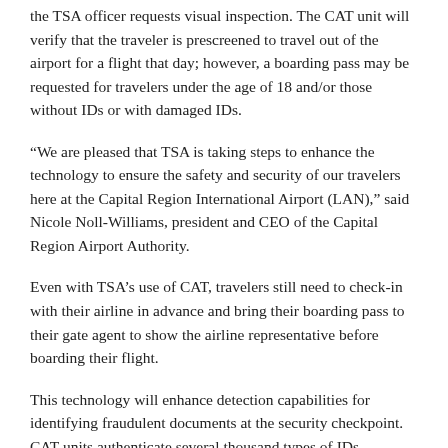the TSA officer requests visual inspection. The CAT unit will verify that the traveler is prescreened to travel out of the airport for a flight that day; however, a boarding pass may be requested for travelers under the age of 18 and/or those without IDs or with damaged IDs.
“We are pleased that TSA is taking steps to enhance the technology to ensure the safety and security of our travelers here at the Capital Region International Airport (LAN),” said Nicole Noll-Williams, president and CEO of the Capital Region Airport Authority.
Even with TSA’s use of CAT, travelers still need to check-in with their airline in advance and bring their boarding pass to their gate agent to show the airline representative before boarding their flight.
This technology will enhance detection capabilities for identifying fraudulent documents at the security checkpoint. CAT units authenticate several thousand types of IDs including passports, military common access cards, retired